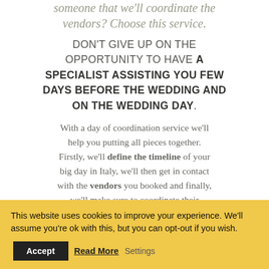someone that we'll coordinate the vendors? Choose this service.
DON'T GIVE UP ON THE OPPORTUNITY TO HAVE A SPECIALIST ASSISTING YOU FEW DAYS BEFORE THE WEDDING AND ON THE WEDDING DAY.
With a day of coordination service we'll help you putting all pieces together. Firstly, we'll define the timeline of your big day in Italy, we'll then get in contact with the vendors you booked and finally, we'll make sure to coordinate their
This website uses cookies to improve your experience. We'll assume you're ok with this, but you can opt-out if you wish.